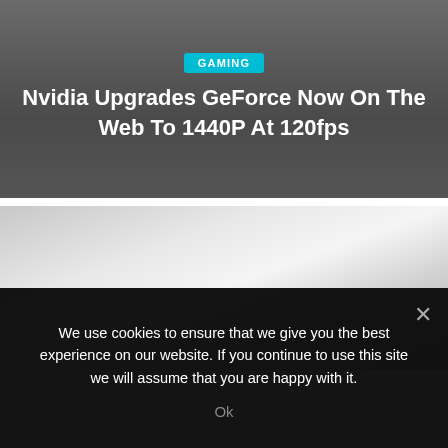GAMING
Nvidia Upgrades GeForce Now On The Web To 1440P At 120fps
[Figure (photo): Large light gray/white image placeholder area, likely a product or game screenshot related to the article]
We use cookies to ensure that we give you the best experience on our website. If you continue to use this site we will assume that you are happy with it.
Ok